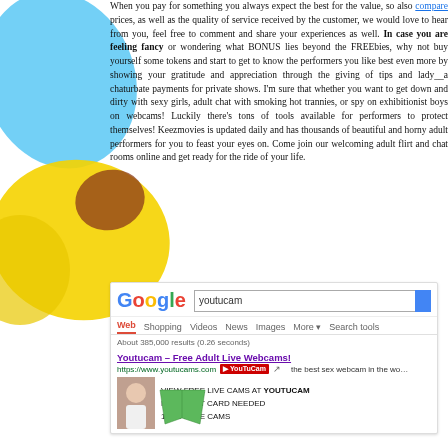[Figure (illustration): Colorful paint blob illustration in blue, yellow and red on left side of page]
When you pay for something you always expect the best for the value, so also compare prices, as well as the quality of service received by the customer, we would love to hear from you, feel free to comment and share your experiences as well. In case you are feeling fancy or wondering what BONUS lies beyond the FREEbies, why not buy yourself some tokens and start to get to know the performers you like best even more by showing your gratitude and appreciation through the giving of tips and lady__a chaturbate payments for private shows. I'm sure that whether you want to get down and dirty with sexy girls, adult chat with smoking hot trannies, or spy on exhibitionist boys on webcams! Luckily there's tons of tools available for performers to protect themselves! Keezmovies is updated daily and has thousands of beautiful and horny adult performers for you to feast your eyes on. Come join our welcoming adult flirt and chat rooms online and get ready for the ride of your life.
[Figure (screenshot): Screenshot of a Google search results page for 'youtucam' showing a paid ad for Youtucam - Free Adult Live Webcams with URL https://www.youtucams.com and ad text: VIEW FREE LIVE CAMS AT YOUTUCAM, NO CREDIT CARD NEEDED, 100% FREE CAMS. Also shows web navigation tabs: Web, Shopping, Videos, News, Images, More, Search tools. About 385,000 results (0.26 seconds).]
[Figure (illustration): Green shorts/underwear illustration at bottom of page]